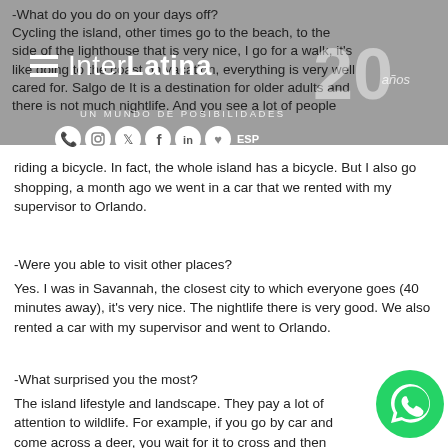InterLatina - UN MUNDO DE POSIBILIDADES - 20 años
-What do you do on your days off? Cycling the island, other times go to the beach, to the side of the lighthouse that is very nice, I go for a walk, it's like going to the coast on vacation, everything is very well cared for. Salgo de It is a destination for older adults and there is not much nightlife. And you see a lot of people riding a bicycle. In fact, the whole island has a bicycle. But I also go shopping, a month ago we went in a car that we rented with my supervisor to Orlando.
-Were you able to visit other places? Yes. I was in Savannah, the closest city to which everyone goes (40 minutes away), it's very nice. The nightlife there is very good. We also rented a car with my supervisor and went to Orlando.
-What surprised you the most? The island lifestyle and landscape. They pay a lot of attention to wildlife. For example, if you go by car and come across a deer, you wait for it to cross and then continue. Also the fact that there are so many bike paths that you are in the middle of the forest. You are